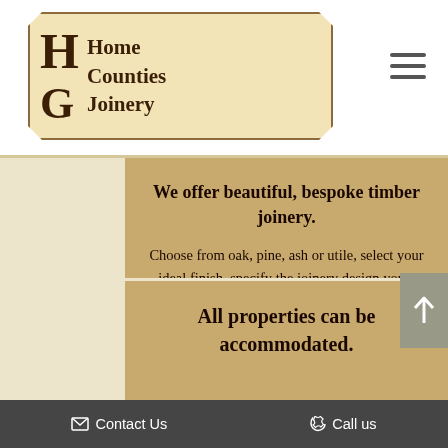[Figure (logo): Home Counties Joinery logo in a notched rectangular frame with HCJ monogram initials and company name]
We offer beautiful, bespoke timber joinery.
Choose from oak, pine, ash or utile, select your ideal finish, specify the joinery design you'd like… the choices are all yours. If you're not sure what you need yet, we can advise you in full.
All properties can be accommodated.
✉ Contact Us   📞 Call us